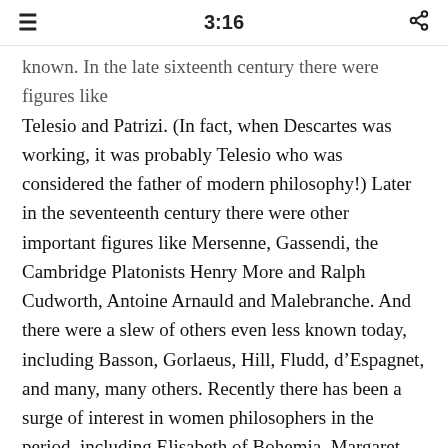3:16
known. In the late sixteenth century there were figures like Telesio and Patrizi. (In fact, when Descartes was working, it was probably Telesio who was considered the father of modern philosophy!) Later in the seventeenth century there were other important figures like Mersenne, Gassendi, the Cambridge Platonists Henry More and Ralph Cudworth, Antoine Arnauld and Malebranche. And there were a slew of others even less known today, including Basson, Gorlaeus, Hill, Fludd, d'Espagnet, and many, many others. Recently there has been a surge of interest in women philosophers in the period, including Elisabeth of Bohemia, Margaret Cavendish, Anne Conway and others. And the list is constantly growing.
What do we learn from studying these lesser-known figures? In a way, they provide the context for the larger figures who have entered the canon. There is no question that Descartes, for example, shaped the philosophical landscape more than Henry More. But to understand what